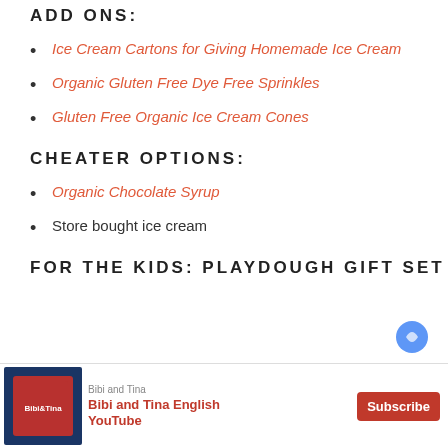ADD ONS:
Ice Cream Cartons for Giving Homemade Ice Cream
Organic Gluten Free Dye Free Sprinkles
Gluten Free Organic Ice Cream Cones
CHEATER OPTIONS:
Organic Chocolate Syrup
Store bought ice cream
FOR THE KIDS: PLAYDOUGH GIFT SET
[Figure (infographic): Advertisement banner for Bibi and Tina English YouTube channel with Subscribe button]